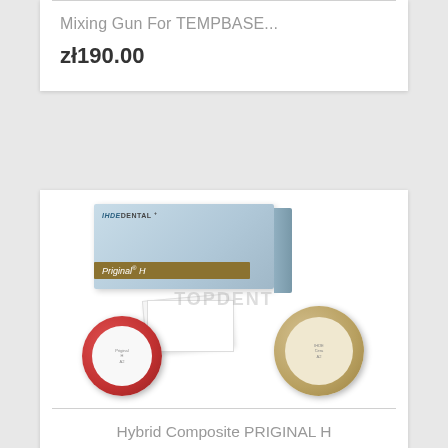Mixing Gun For TEMPBASE...
zł190.00
[Figure (photo): Dental product photo showing INDEDENTAL Priginal H box, paper mixing pads, and two disk-shaped composite pucks (red and beige). Watermark 'TOPDENT' visible.]
Hybrid Composite PRIGINAL H
zł...